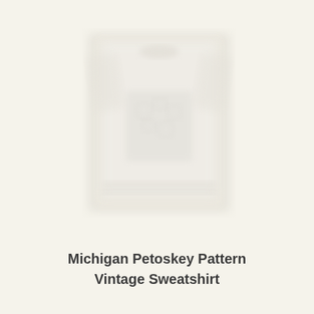[Figure (photo): Blurred/faded photograph of a white sweatshirt with a Michigan Petoskey pattern printed on it, shown against a light cream background. The image is very washed out and appears blurred.]
Michigan Petoskey Pattern Vintage Sweatshirt